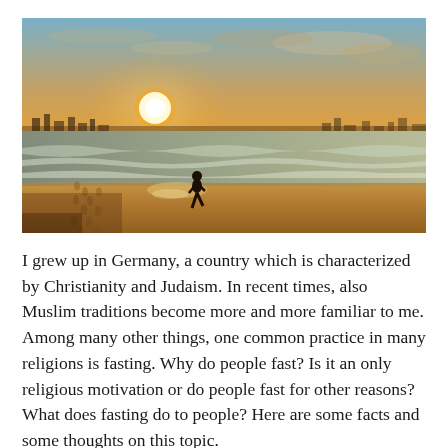[Figure (photo): A silhouette of a person walking alone on a beach at sunset. Footprints are visible in the wet sand. Waves wash onto the shore on the right. The sun is low on the horizon, casting a golden glow over the sky and water. City or town skyline is faintly visible in the background.]
I grew up in Germany, a country which is characterized by Christianity and Judaism. In recent times, also Muslim traditions become more and more familiar to me. Among many other things, one common practice in many religions is fasting. Why do people fast? Is it an only religious motivation or do people fast for other reasons? What does fasting do to people? Here are some facts and some thoughts on this topic.